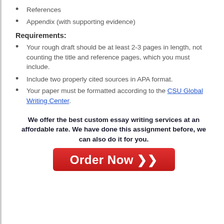References
Appendix (with supporting evidence)
Requirements:
Your rough draft should be at least 2-3 pages in length, not counting the title and reference pages, which you must include.
Include two properly cited sources in APA format.
Your paper must be formatted according to the CSU Global Writing Center.
We offer the best custom essay writing services at an affordable rate. We have done this assignment before, we can also do it for you.
[Figure (other): Red Order Now button with double arrow]